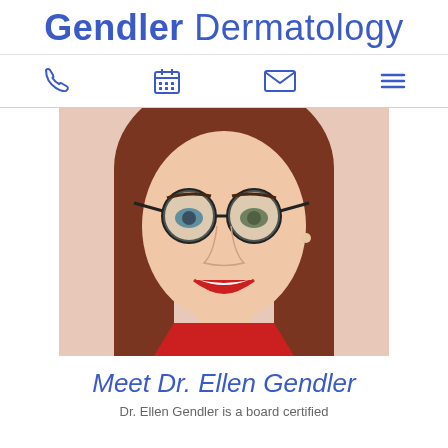Gendler Dermatology
[Figure (photo): Portrait photo of Dr. Ellen Gendler, a woman with brown hair, round dark-framed glasses, red lipstick, pearl necklace, and red top, smiling]
Meet Dr. Ellen Gendler
Dr. Ellen Gendler is a board certified